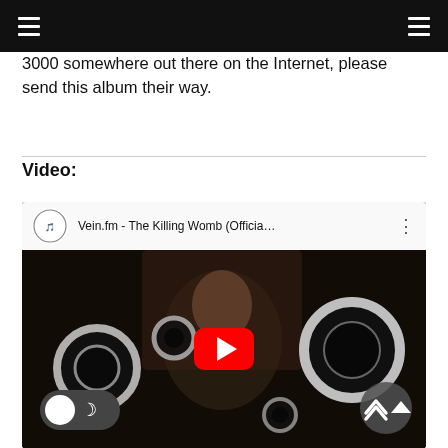3000 somewhere out there on the Internet, please send this album their way.
Video:
[Figure (screenshot): YouTube video embed showing 'Vein.fm - The Killing Womb (Officia...' with a dark cinematic thumbnail featuring a person and ring lights, a red YouTube play button overlay, a dark/light mode toggle in the lower left, and an up-arrow navigation button in the lower right.]